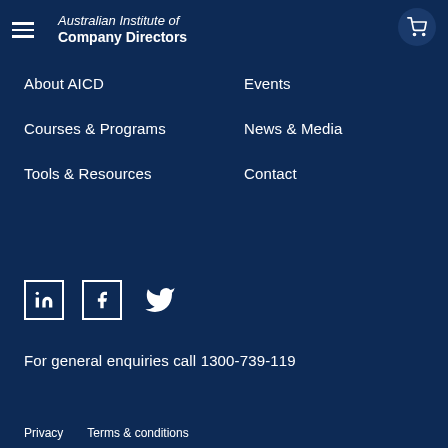Australian Institute of Company Directors
About AICD
Events
Courses & Programs
News & Media
Tools & Resources
Contact
[Figure (logo): Social media icons: LinkedIn, Facebook, Twitter]
For general enquiries call 1300-739-119
Privacy   Terms & conditions